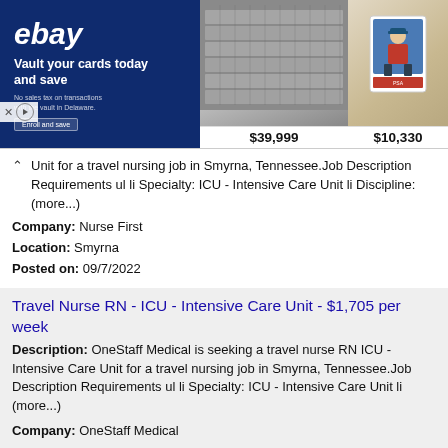[Figure (screenshot): eBay advertisement banner with 'Vault your cards today and save' tagline, showing trading cards at prices $39,999 and $10,330]
Unit for a travel nursing job in Smyrna, Tennessee.Job Description Requirements ul li Specialty: ICU - Intensive Care Unit li Discipline: (more...)
Company: Nurse First
Location: Smyrna
Posted on: 09/7/2022
Travel Nurse RN - ICU - Intensive Care Unit - $1,705 per week
Description: OneStaff Medical is seeking a travel nurse RN ICU - Intensive Care Unit for a travel nursing job in Smyrna, Tennessee.Job Description Requirements ul li Specialty: ICU - Intensive Care Unit li (more...)
Company: OneStaff Medical
Location: Smyrna
Posted on: 09/7/2022
CNA : Make your own schedule and get paid next day! Up to $31